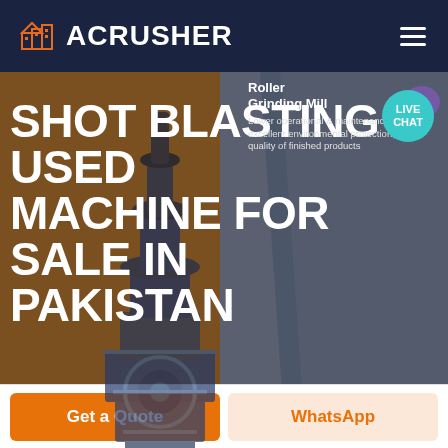ACRUSHER
SHOT BLASTING USED MACHINE FOR SALE IN PAKISTAN
Roller Grinding Mill
Lower operational & maintenance costs, excellent environmental protection, better quality of finished products
HOME / PRODUCTS
Get a Quote
WhatsApp